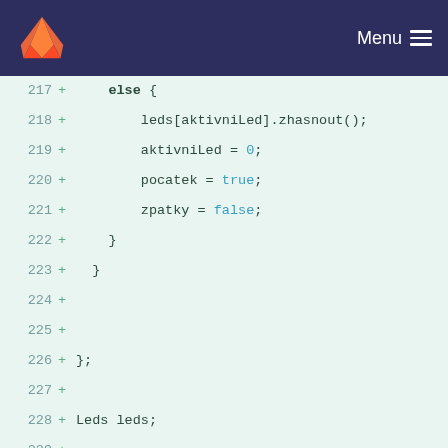GitLab — Menu
[Figure (screenshot): Code diff view showing lines 217-236 of a C++ source file with added lines (marked with +) including else block, Leds struct, and Button struct definitions.]